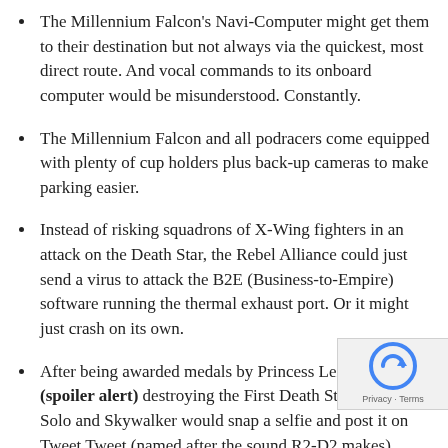The Millennium Falcon's Navi-Computer might get them to their destination but not always via the quickest, most direct route. And vocal commands to its onboard computer would be misunderstood. Constantly.
The Millennium Falcon and all podracers come equipped with plenty of cup holders plus back-up cameras to make parking easier.
Instead of risking squadrons of X-Wing fighters in an attack on the Death Star, the Rebel Alliance could just send a virus to attack the B2E (Business-to-Empire) software running the thermal exhaust port. Or it might just crash on its own.
After being awarded medals by Princess Leia for (spoiler alert) destroying the First Death Star, Generals Solo and Skywalker would snap a selfie and post it on Tweet Tweet (named after the sound R2-D2 makes).
Instead of the love interest triangle of Leia, Han, and Luke, Luke would hire a Ben, Jack, Ben...